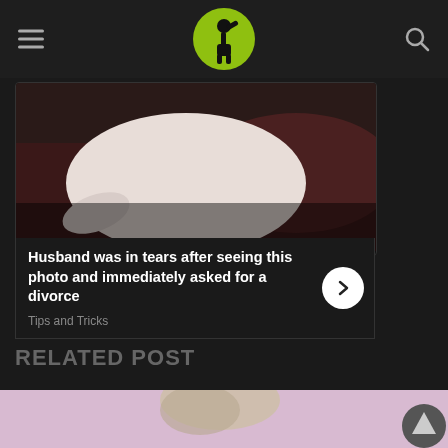[Figure (logo): Website header with hamburger menu, circular logo with person drinking/flexing icon on green background, and search icon]
[Figure (photo): Photo of a pregnant woman in white top sitting on a dark leather couch, with article overlay text]
Husband was in tears after seeing this photo and immediately asked for a divorce
Tips and Tricks
RELATED POST
[Figure (photo): Partial photo of a blonde woman with pink/purple background, scroll-to-top button visible]